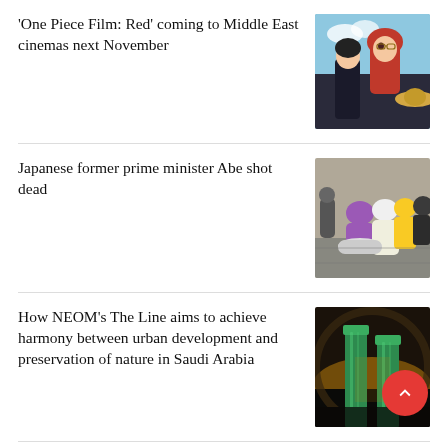'One Piece Film: Red' coming to Middle East cinemas next November
[Figure (illustration): Anime illustration from 'One Piece Film: Red' showing characters with red hair and a straw hat]
Japanese former prime minister Abe shot dead
[Figure (photo): News photo showing people gathered around fallen Shinzo Abe after assassination]
How NEOM's The Line aims to achieve harmony between urban development and preservation of nature in Saudi Arabia
[Figure (photo): Architectural rendering or photo of NEOM's The Line project in Saudi Arabia showing green towers]
Jarrah Alfurieh: The co-creator of 'The Batman of London'...
[Figure (photo): Photo related to Jarrah Alfurieh article]